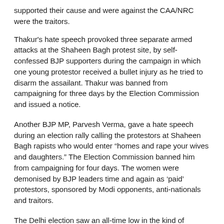supported their cause and were against the CAA/NRC were the traitors.
Thakur's hate speech provoked three separate armed attacks at the Shaheen Bagh protest site, by self-confessed BJP supporters during the campaign in which one young protestor received a bullet injury as he tried to disarm the assailant. Thakur was banned from campaigning for three days by the Election Commission and issued a notice.
Another BJP MP, Parvesh Verma, gave a hate speech during an election rally calling the protestors at Shaheen Bagh rapists who would enter “homes and rape your wives and daughters.” The Election Commission banned him from campaigning for four days. The women were demonised by BJP leaders time and again as ‘paid’ protestors, sponsored by Modi opponents, anti-nationals and traitors.
The Delhi election saw an all-time low in the kind of rhetoric used by BJP leaders, who consistently indulged in Islamophobic hate speeches during elections to ‘other’ Muslims and consolidate Hindu votes behind them. However, it did not work with Delhi voters who are overwhelmingly re-electing AAP candidates in 62 out of a total 70 Assembly seats. Does this defeat mean that the BJP will stop using religious polarization for electoral gains? That remains to be seen, but it is highly unlikely as it the only weapon they have in their armour.